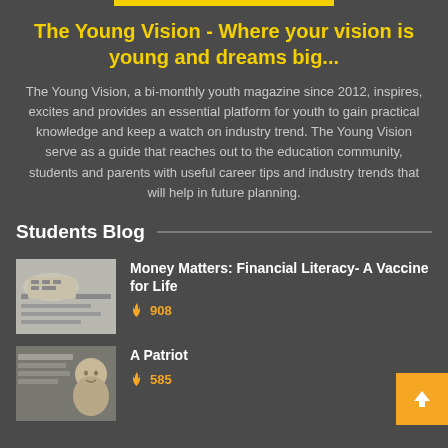The Young Vision - Where your vision is young and dreams big...
The Young Vision, a bi-monthly youth magazine since 2012, inspires, excites and provides an essential platform for youth to gain practical knowledge and keep a watch on industry trend. The Young Vision serve as a guide that reaches out to the education community, students and parents with useful career tips and industry trends that will help in future planning.
Students Blog
Money Matters: Financial Literacy- A Vaccine for Life
🔥 908
A Patriot
🔥 585